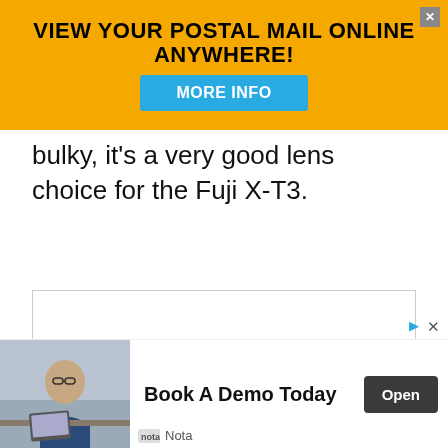[Figure (screenshot): Top advertisement banner with gold/yellow background reading 'VIEW YOUR POSTAL MAIL ONLINE ANYWHERE!' with a blue 'MORE INFO' button and close X button]
bulky, it's a very good lens choice for the Fuji X-T3.
[Figure (photo): Photograph of a Fujifilm camera lens (wide zoom lens, black, with red badge at bottom) displayed on white background inside a bordered box]
[Figure (screenshot): Bottom advertisement banner: man in glasses sitting at desk (photo), text 'Book A Demo Today', dark 'Open' button, Nota logo and name at bottom left, with ad attribution icons top right]